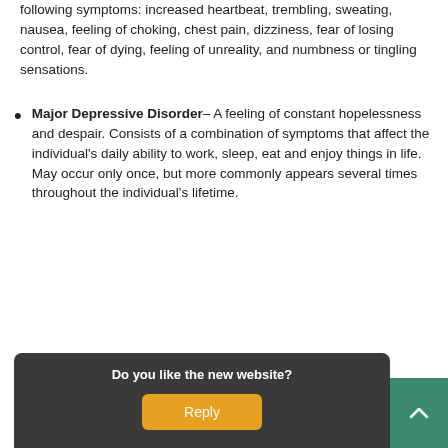following symptoms: increased heartbeat, trembling, sweating, nausea, feeling of choking, chest pain, dizziness, fear of losing control, fear of dying, feeling of unreality, and numbness or tingling sensations.
Major Depressive Disorder– A feeling of constant hopelessness and despair. Consists of a combination of symptoms that affect the individual's daily ability to work, sleep, eat and enjoy things in life. May occur only once, but more commonly appears several times throughout the individual's lifetime.
Mania/Manic Syndrome disorder–
[Figure (screenshot): Website feedback popup with dark background asking 'Do you like the new website?' with an orange 'Reply' button. A collapse chevron button is at the top right of the popup, and a green scroll-to-top button with an up arrow is at the bottom right corner.]